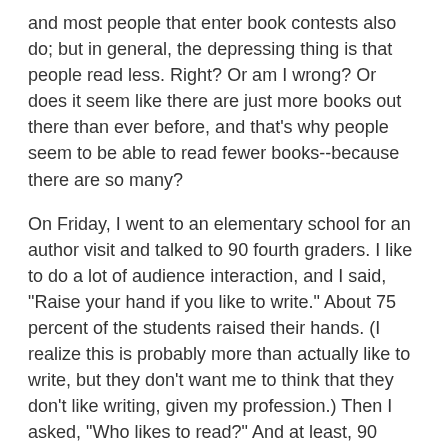and most people that enter book contests also do; but in general, the depressing thing is that people read less. Right? Or am I wrong? Or does it seem like there are just more books out there than ever before, and that's why people seem to be able to read fewer books--because there are so many?
On Friday, I went to an elementary school for an author visit and talked to 90 fourth graders. I like to do a lot of audience interaction, and I said, "Raise your hand if you like to write." About 75 percent of the students raised their hands. (I realize this is probably more than actually like to write, but they don't want me to think that they don't like writing, given my profession.) Then I asked, "Who likes to read?" And at least, 90 percent raised their hands, and I even heard one child exclaim, "Oh yeah, I do."
So, it's not true that all kids like to do is play video games. And it's not true that no adults read, in my opinion. But here are two points we need to consider as writers: 1. we need to read ourselves (please do not say you are too busy writing to read. Part of being a writer is being a reader). 2. We need to